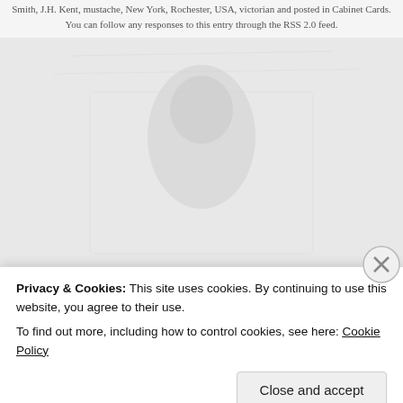Smith, J.H. Kent, mustache, New York, Rochester, USA, victorian and posted in Cabinet Cards. You can follow any responses to this entry through the RSS 2.0 feed.
[Figure (photo): Faded/ghosted background photo of a Victorian cabinet card portrait]
« This is how you celebrate!      1915 photo strip of smiling
2 responses to ““Elementary, my dear Watson.” J.H. Kent cabi… card”
[Figure (photo): Avatar/profile photo of commenter summertime75]
summertime75
April 19th, 2015 at 3:38 pm
Privacy & Cookies: This site uses cookies. By continuing to use this website, you agree to their use. To find out more, including how to control cookies, see here: Cookie Policy
Close and accept